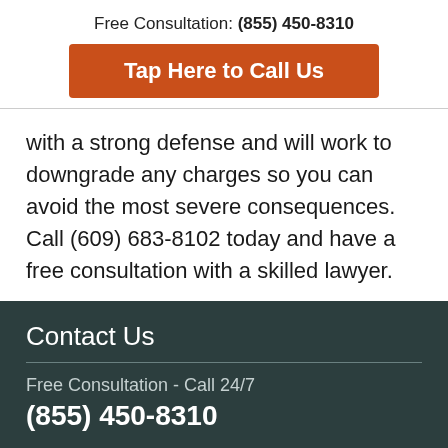Free Consultation: (855) 450-8310
Tap Here to Call Us
with a strong defense and will work to downgrade any charges so you can avoid the most severe consequences. Call (609) 683-8102 today and have a free consultation with a skilled lawyer.
Contact Us
Free Consultation - Call 24/7
(855) 450-8310